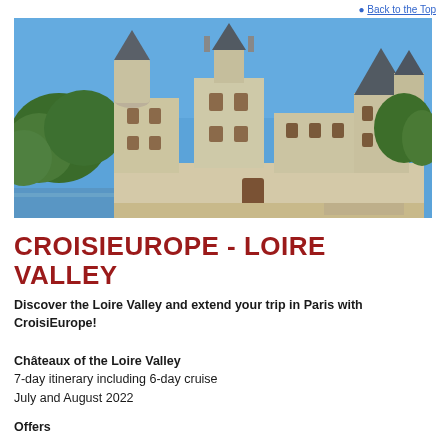Back to the Top
[Figure (photo): Photograph of a French château (Azay-le-Rideau or similar Loire Valley castle) with blue sky, turrets with dark slate roofs, cream-colored stone walls, and trees in the background]
CROISIEUROPE - LOIRE VALLEY
Discover the Loire Valley and extend your trip in Paris with CroisiEurope!
Châteaux of the Loire Valley
7-day itinerary including 6-day cruise
July and August 2022
Offers